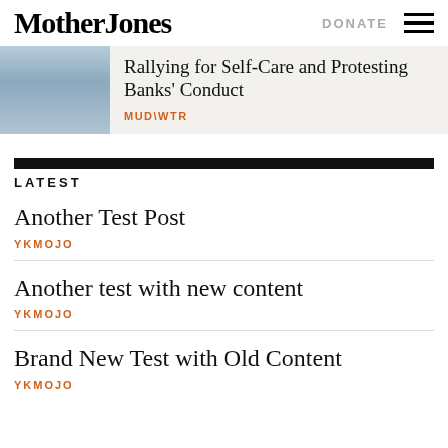Mother Jones | DONATE ≡
Rallying for Self-Care and Protesting Banks' Conduct
MUD\WTR
LATEST
Another Test Post
YKMOJO
Another test with new content
YKMOJO
Brand New Test with Old Content
YKMOJO